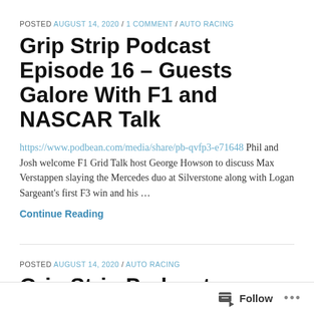POSTED AUGUST 14, 2020 / 1 COMMENT / AUTO RACING
Grip Strip Podcast Episode 16 – Guests Galore With F1 and NASCAR Talk
https://www.podbean.com/media/share/pb-qvfp3-e71648 Phil and Josh welcome F1 Grid Talk host George Howson to discuss Max Verstappen slaying the Mercedes duo at Silverstone along with Logan Sargeant's first F3 win and his …
Continue Reading
POSTED AUGUST 14, 2020 / AUTO RACING
Grip Strip Podcast Episode 15 – The Good, The Bad and The Randy